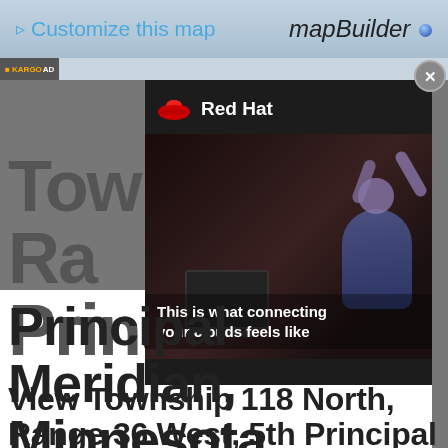> Customize this map
[Figure (screenshot): Red Hat advertisement overlay showing a person at a computer with text 'This is what connecting your clouds feels like', with mapBuilder branding and KARGO AD label]
Township 118 North, Range 36 West, 5th Principal Meridian, Minnesota
View Township 118 North, Range 36 West, 5th Principal Meridian, Minnesota Section Township Range map on Google Maps • Free